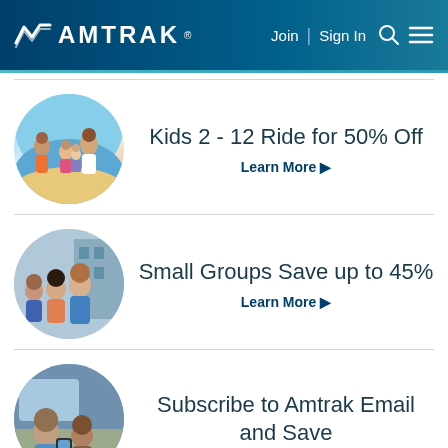Amtrak — Join | Sign In
[Figure (illustration): Circular photo of a family on a beach]
Kids 2 - 12 Ride for 50% Off
Learn More ▶
[Figure (illustration): Circular photo of a small group of young adults]
Small Groups Save up to 45%
Learn More ▶
[Figure (illustration): Circular photo of two people on a train looking at a device]
Subscribe to Amtrak Email and Save